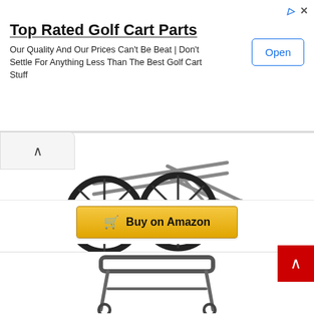[Figure (screenshot): Advertisement banner for Top Rated Golf Cart Parts with Open button]
Top Rated Golf Cart Parts
Our Quality And Our Prices Can't Be Beat | Don't Settle For Anything Less Than The Best Golf Cart Stuff
[Figure (photo): TMS 500lb Deer Cart Game Hauler Utility Hunting Accessories Gear Dolly Cart with two large black wheels and metal frame]
TMS 500lb Deer Cart Game Hauler Utility Hunting Accessories Gear Dolly Cart w/Straps
[Figure (screenshot): Buy on Amazon button with shopping cart icon]
[Figure (photo): Partial view of a second product cart at the bottom of the page]